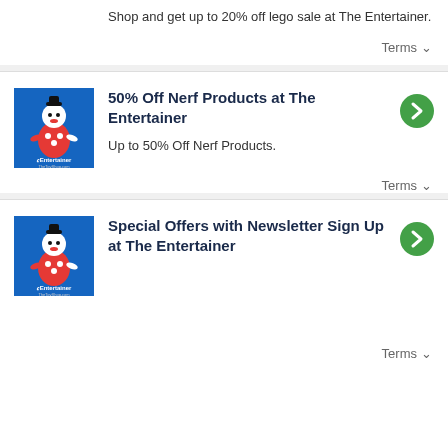Shop and get up to 20% off lego sale at The Entertainer.
Terms
[Figure (logo): The Entertainer TheToyShop.com logo - blue background with clown character]
50% Off Nerf Products at The Entertainer
Up to 50% Off Nerf Products.
Terms
[Figure (logo): The Entertainer TheToyShop.com logo - blue background with clown character]
Special Offers with Newsletter Sign Up at The Entertainer
Terms